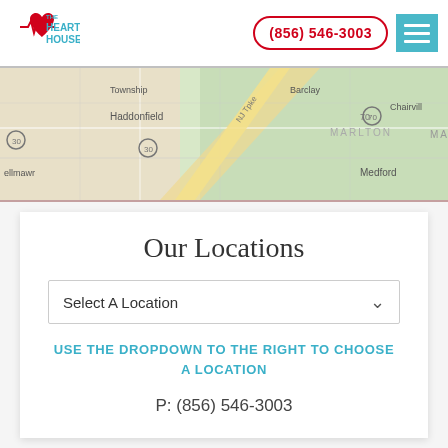[Figure (logo): The Heart House logo with red heart and heartbeat line, teal text]
(856) 546-3003
[Figure (map): Google Maps screenshot showing South Jersey area including Haddonfield, Marlton, Medford, Barclay, Chairville, Bellmawr area roads and green areas]
Our Locations
Select A Location
USE THE DROPDOWN TO THE RIGHT TO CHOOSE A LOCATION
P: (856) 546-3003